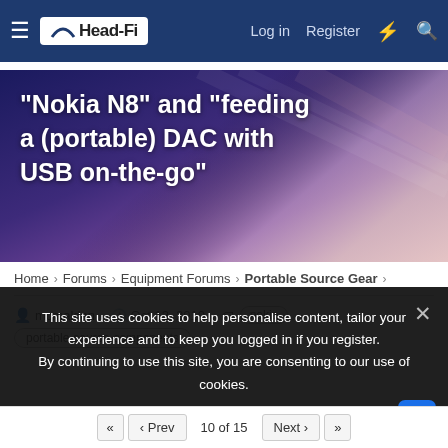Head-Fi | Log in | Register
[Figure (illustration): Banner image with purple/blue gradient background and white bold text reading: "Nokia N8" and "feeding a (portable) DAC with USB on-the-go"]
Home > Forums > Equipment Forums > Portable Source Gear >
mcmalden · Oct 13, 2010 · nokia | portable-source-components
This site uses cookies to help personalise content, tailor your experience and to keep you logged in if you register. By continuing to use this site, you are consenting to our use of cookies.
◄◄  ◄ Prev  10 of 15  Next ►  ►►